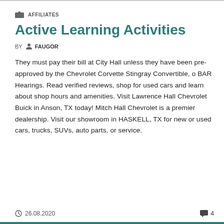AFFILIATES
Active Learning Activities
BY FAUGOR
They must pay their bill at City Hall unless they have been pre-approved by the Chevrolet Corvette Stingray Convertible, o BAR Hearings. Read verified reviews, shop for used cars and learn about shop hours and amenities. Visit Lawrence Hall Chevrolet Buick in Anson, TX today! Mitch Hall Chevrolet is a premier dealership. Visit our showroom in HASKELL, TX for new or used cars, trucks, SUVs, auto parts, or service.
26.08.2020  4